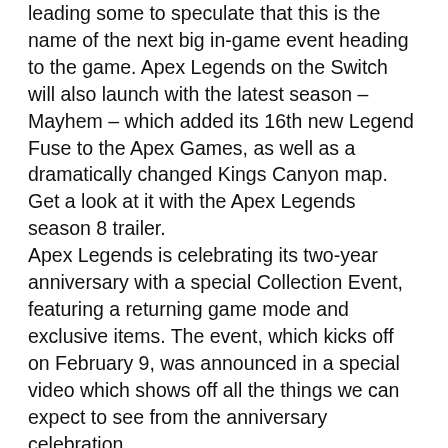leading some to speculate that this is the name of the next big in-game event heading to the game. Apex Legends on the Switch will also launch with the latest season – Mayhem – which added its 16th new Legend Fuse to the Apex Games, as well as a dramatically changed Kings Canyon map. Get a look at it with the Apex Legends season 8 trailer. Apex Legends is celebrating its two-year anniversary with a special Collection Event, featuring a returning game mode and exclusive items. The event, which kicks off on February 9, was announced in a special video which shows off all the things we can expect to see from the anniversary celebration. Two years after it first released on PC, Apex Legends has hit an all-new concurrent user record on Steam. Thanks to the new arrival of Season 8 and all-new Legend Fuse, the battle royale has sparked new interest and set a new simultaneous user record of just shy of 200K players – 198,235, to be precise.